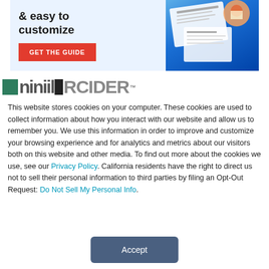[Figure (illustration): Advertisement banner with light blue background showing bold text '& easy to customize', a red button labeled 'GET THE GUIDE', and an image of documents/papers on a blue background on the right side.]
[Figure (logo): Partial website logo with green square, gray letterforms, and black vertical bar followed by lighter text - appears to be 'HubInsider' or similar brand name with TM mark]
This website stores cookies on your computer. These cookies are used to collect information about how you interact with our website and allow us to remember you. We use this information in order to improve and customize your browsing experience and for analytics and metrics about our visitors both on this website and other media. To find out more about the cookies we use, see our Privacy Policy. California residents have the right to direct us not to sell their personal information to third parties by filing an Opt-Out Request: Do Not Sell My Personal Info.
Accept